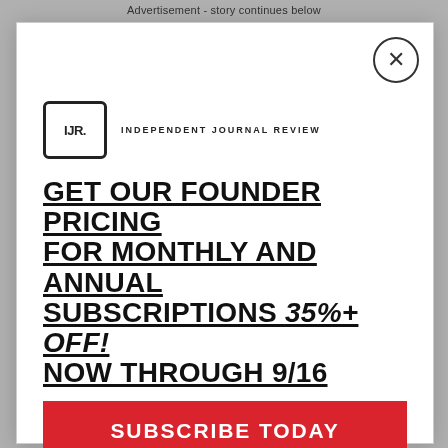Advertisement - story continues below
[Figure (screenshot): Independent Journal Review advertisement banner with IJR logo and close button X]
[Figure (screenshot): Modal popup with IJR logo and subscription offer: GET OUR FOUNDER PRICING FOR MONTHLY AND ANNUAL SUBSCRIPTIONS 35%+ OFF! NOW THROUGH 9/16 with SUBSCRIBE TODAY red button]